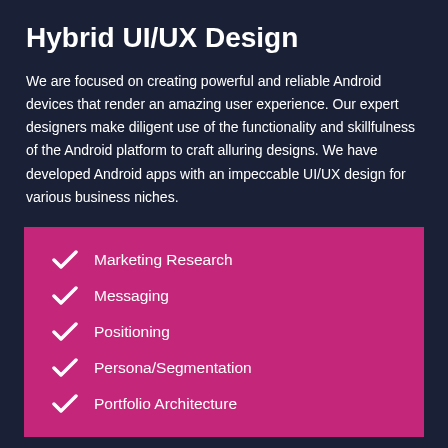Hybrid UI/UX Design
We are focused on creating powerful and reliable Android devices that render an amazing user experience. Our expert designers make diligent use of the functionality and skillfulness of the Android platform to craft alluring designs. We have developed Android apps with an impeccable UI/UX design for various business niches.
Marketing Research
Messaging
Positioning
Persona/Segmentation
Portfolio Architecture